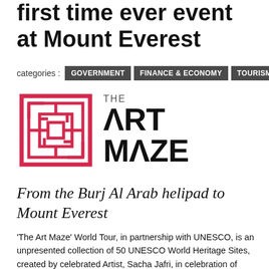first time ever event at Mount Everest
categories : GOVERNMENT   FINANCE & ECONOMY   TOURISM
[Figure (logo): The Art Maze logo: a red square maze icon on the left, and text 'THE ART MAZE' on the right in bold black sans-serif]
From the Burj Al Arab helipad to Mount Everest
'The Art Maze' World Tour, in partnership with UNESCO, is an unpresented collection of 50 UNESCO World Heritage Sites, created by celebrated Artist, Sacha Jafri, in celebration of UNESCO World Heritage Site's 50th year anniversary and The Next 50, a year-long UNESCO campaign promoting interdisciplinary reflection on the future of the World's Heritage.
Jafri, awarded by the UN for his humanitarian work raising over $140 million for charitable causes, is unveiling his 'Sagarmatha National Park - Mount Everest' painting, a spectacular